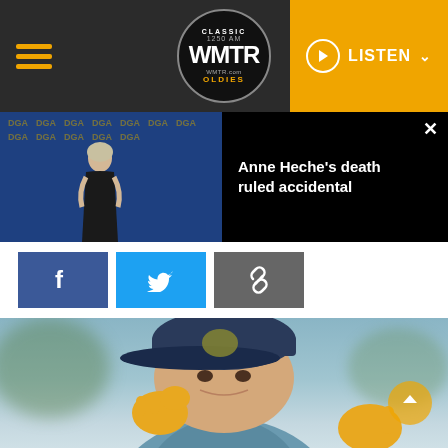WMTR Classic Oldies 1250 AM — LISTEN
[Figure (screenshot): News notification showing Anne Heche at DGA event with text overlay 'Anne Heche's death ruled accidental']
[Figure (photo): Social share buttons: Facebook (blue f), Twitter (blue bird), Link (gray chain icon)]
[Figure (photo): Man wearing navy baseball cap and yellow gloves gesturing, photographed outdoors at a golf event]